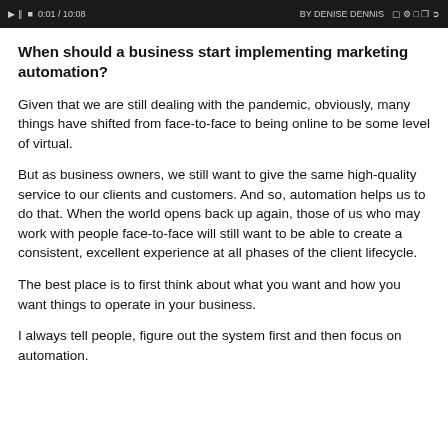[Figure (screenshot): Video player bar showing controls and title text at the top of the page]
When should a business start implementing marketing automation?
Given that we are still dealing with the pandemic, obviously, many things have shifted from face-to-face to being online to be some level of virtual.
But as business owners, we still want to give the same high-quality service to our clients and customers. And so, automation helps us to do that. When the world opens back up again, those of us who may work with people face-to-face will still want to be able to create a consistent, excellent experience at all phases of the client lifecycle.
The best place is to first think about what you want and how you want things to operate in your business.
I always tell people, figure out the system first and then focus on automation.